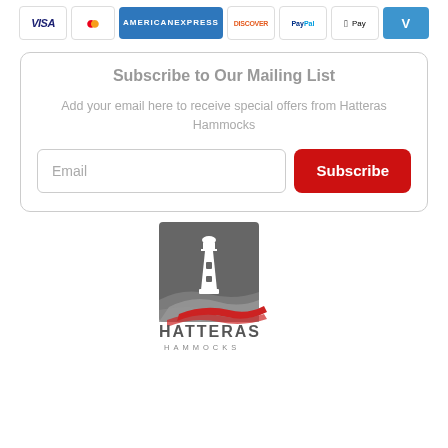[Figure (other): Payment method icons: Visa, MasterCard, American Express, Discover, PayPal, Apple Pay, Venmo]
Subscribe to Our Mailing List
Add your email here to receive special offers from Hatteras Hammocks
[Figure (logo): Hatteras Hammocks logo — lighthouse silhouette in gray square with red and gray swoosh waves, text HATTERAS HAMMOCKS below]